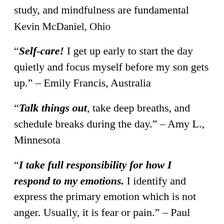study, and mindfulness are fundamental
Kevin McDaniel, Ohio
“Self-care! I get up early to start the day quietly and focus myself before my son gets up.” – Emily Francis, Australia
“Talk things out, take deep breaths, and schedule breaks during the day.” – Amy L., Minnesota
“I take full responsibility for how I respond to my emotions. I identify and express the primary emotion which is not anger. Usually, it is fear or pain.” – Paul Gutierrez, Colorado